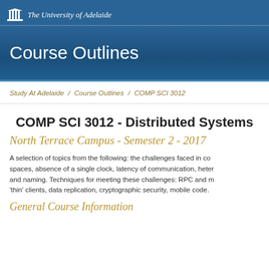The University of Adelaide
Course Outlines
Study At Adelaide / Course Outlines / COMP SCI 3012
COMP SCI 3012 - Distributed Systems
North Terrace Campus - Semester 2 - 2017
A selection of topics from the following: the challenges faced in co spaces, absence of a single clock, latency of communication, heter and naming. Techniques for meeting these challenges: RPC and m 'thin' clients, data replication, cryptographic security, mobile code.
General Course Information